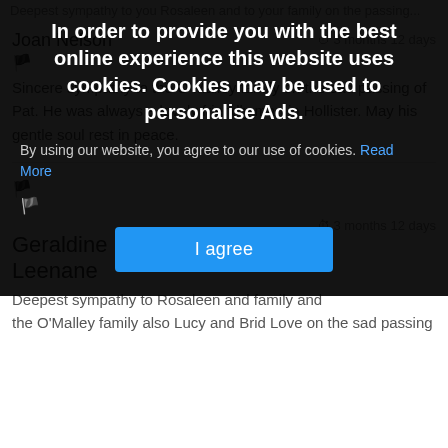Deepest sympathy to you Rosaleen and to your family on the passing...
[Figure (screenshot): Cookie consent overlay with dark background. Title: 'In order to provide you with the best online experience this website uses cookies. Cookies may be used to personalise Ads.' Body text: 'By using our website, you agree to our use of cookies. Read More' with a flag icon. Blue 'I agree' button centered below.]
Joan Nelson
3 months 12 days
Sincere sympathy to the O Malley family on the sad passing of Pat. He was always a lovely friendly man in Hollister. May his gentle soul rest in peace.
🏴
Geraldine Heneghan Tonatleva Leenane
3 months 12 days
Deepest sympathy to Rosaleen and family and the O'Malley family also Lucy and Brid Love on the sad passing...